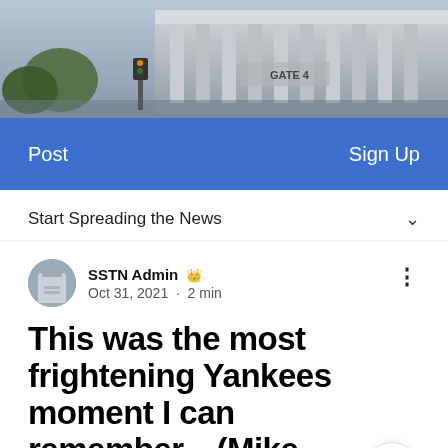[Figure (photo): Exterior photo of Yankee Stadium building facade, showing columns and Gate 4 signage, with trees and street visible.]
Post   Sign Up
Start Spreading the News
SSTN Admin 👑
Oct 31, 2021 · 2 min
This was the most frightening Yankees moment I can remember... (Mike Whiteman)
This was the most frightening Yankees